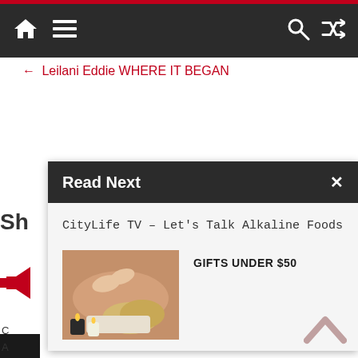Navigation bar with home, menu, search, and shuffle icons
← Leilani Eddie WHERE IT BEGAN
Read Next
CityLife TV – Let's Talk Alkaline Foods
[Figure (photo): Woman receiving a back massage with candles on a table]
GIFTS UNDER $50